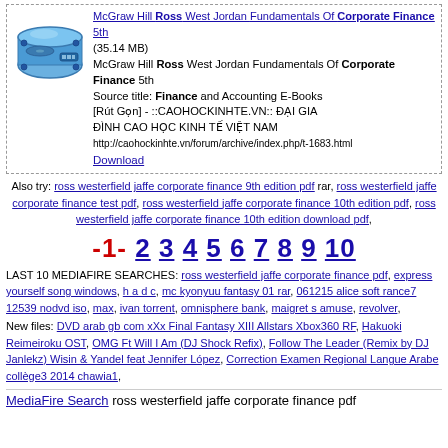[Figure (illustration): Blue hard disk drive icon]
McGraw Hill Ross West Jordan Fundamentals Of Corporate Finance 5th (35.14 MB) McGraw Hill Ross West Jordan Fundamentals Of Corporate Finance 5th Source title: Finance and Accounting E-Books [Rút Gọn] - ::CAOHOCKINHTE.VN:: ĐẠI GIA ĐÌNH CAO HỌC KINH TẾ VIỆT NAM http://caohockinhte.vn/forum/archive/index.php/t-1683.html Download
Also try: ross westerfield jaffe corporate finance 9th edition pdf rar, ross westerfield jaffe corporate finance test pdf, ross westerfield jaffe corporate finance 10th edition pdf, ross westerfield jaffe corporate finance 10th edition download pdf,
-1- 2 3 4 5 6 7 8 9 10
LAST 10 MEDIAFIRE SEARCHES: ross westerfield jaffe corporate finance pdf, express yourself song windows, h a d c, mc kyonyuu fantasy 01 rar, 061215 alice soft rance7 12539 nodvd iso, max, ivan torrent, omnisphere bank, maigret s amuse, revolver,
New files: DVD arab gb com xXx Final Fantasy XIII Allstars Xbox360 RF, Hakuoki Reimeiroku OST, OMG Ft Will I Am (DJ Shock Refix), Follow The Leader (Remix by DJ Janlekz) Wisin & Yandel feat Jennifer López, Correction Examen Regional Langue Arabe collège3 2014 chawia1,
MediaFire Search ross westerfield jaffe corporate finance pdf